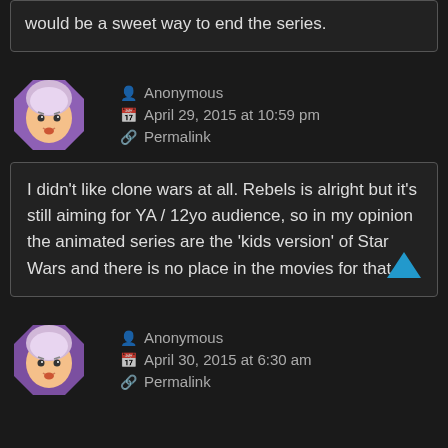would be a sweet way to end the series.
Anonymous
April 29, 2015 at 10:59 pm
Permalink
I didn't like clone wars at all. Rebels is alright but it's still aiming for YA / 12yo audience, so in my opinion the animated series are the 'kids version' of Star Wars and there is no place in the movies for that.
Anonymous
April 30, 2015 at 6:30 am
Permalink